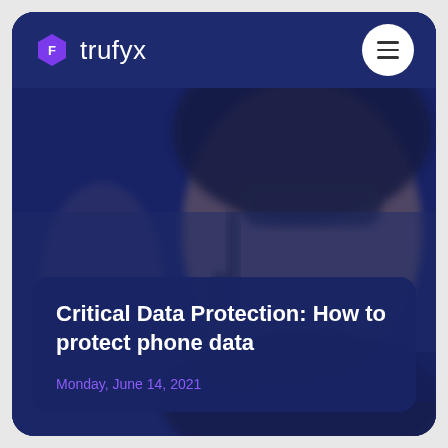[Figure (logo): Trufyx logo with purple hexagon icon and white text 'trufyx']
[Figure (photo): Blurred photo of a man wearing sunglasses and a cap using a walkie-talkie radio, with a blurred woman in background, dark blue tint overlay]
Critical Data Protection: How to protect phone data
Monday, June 14, 2021